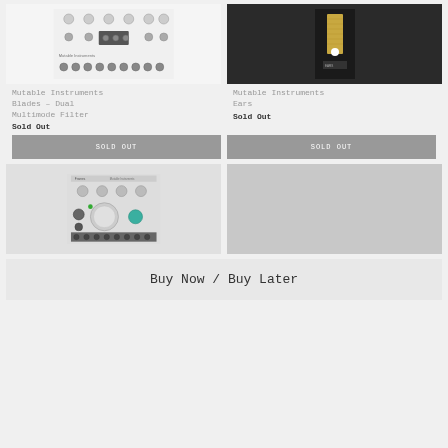[Figure (photo): Mutable Instruments Blades module front panel with knobs and patch points]
[Figure (photo): Mutable Instruments Ears module front panel, dark with gold strip]
Mutable Instruments Blades – Dual Multimode Filter
Sold Out
Mutable Instruments Ears
Sold Out
SOLD OUT
SOLD OUT
[Figure (photo): Mutable Instruments Frames module front panel with large knob, smaller knobs, and patch points]
[Figure (photo): Blank light gray placeholder image]
Buy Now / Buy Later